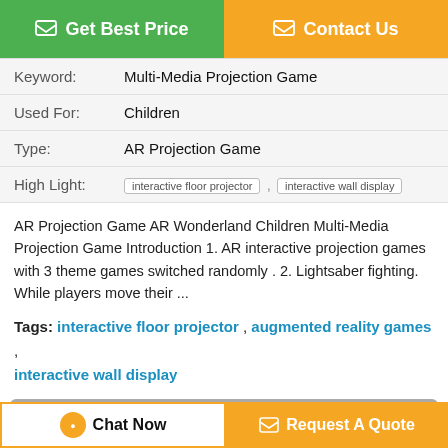[Figure (other): Two buttons: green 'Get Best Price' and orange 'Contact Us']
| Keyword: | Multi-Media Projection Game |
| Used For: | Children |
| Type: | AR Projection Game |
| High Light: | interactive floor projector , interactive wall display |
AR Projection Game AR Wonderland Children Multi-Media Projection Game Introduction 1. AR interactive projection games with 3 theme games switched randomly . 2. Lightsaber fighting. While players move their ...
Tags: interactive floor projector , augmented reality games , interactive wall display
Product Description >
Get the Best Price for
Children Ar Projection Mapping Wonderland Lightsaber Fighting
[Figure (photo): Dark product thumbnail image]
Chat Now
Request A Quote